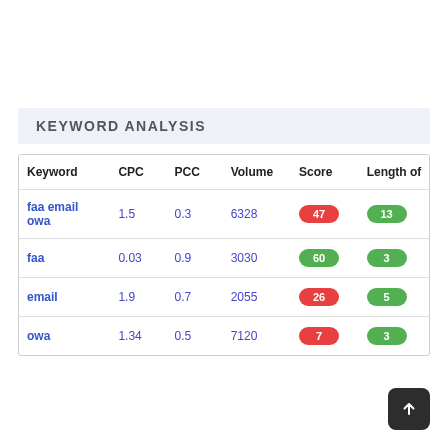KEYWORD ANALYSIS
| Keyword | CPC | PCC | Volume | Score | Length of |
| --- | --- | --- | --- | --- | --- |
| faa email owa | 1.5 | 0.3 | 6328 | 47 | 13 |
| faa | 0.03 | 0.9 | 3030 | 60 | 3 |
| email | 1.9 | 0.7 | 2055 | 26 | 5 |
| owa | 1.34 | 0.5 | 7120 | 7 | 3 |